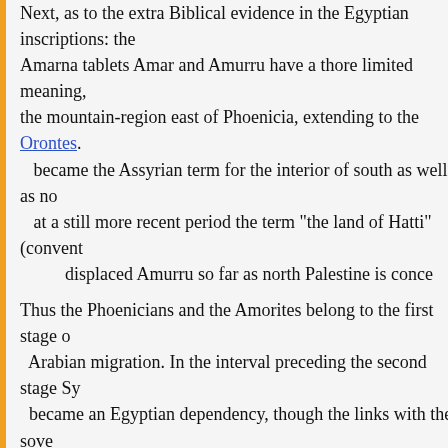Next, as to the extra Biblical evidence in the Egyptian inscriptions: the Amarna tablets Amar and Amurru have a thore limited meaning, indicating the mountain-region east of Phoenicia, extending to the Orontes. became the Assyrian term for the interior of south as well as no... at a still more recent period the term "the land of Hatti" (convent... displaced Amurru so far as north Palestine is conce...
Thus the Phoenicians and the Amorites belong to the first stage of Arabian migration. In the interval preceding the second stage Sy... became an Egyptian dependency, though the links with the sove... not so strong as to prevent frequent local rebellions. Under Th... Amenhotep II the pressure of a strong hand kept the Syrians ... sufficiently loyal to the Phgraohs. The reign of Amen-hotep III., 'chute so tranquil for the Asiatic province. Turbulent chiefs be... opportunities, though as a rule they did not find them becaus... obtain the help of a neighbouring king. The boldest of the disaff... son of Abd ashirta, a prince of Arnurru, who even before the dea... III endeavoured to extend his power into the plain of Damascus. of Katna (near Horns or Hamath), reported this to the Pharaoh w... frustrated the attempt. In the next reign, however, both father... infinite trouble to loyal servants of Egypt like Rib-Addi, gov... (Gebal).
It was, first, the advance of the ijatti (Hittites) into Syria, which... of Amenhotep III, but became far more threatening in that of h... next, the resumption of the second Arabian migration, which...